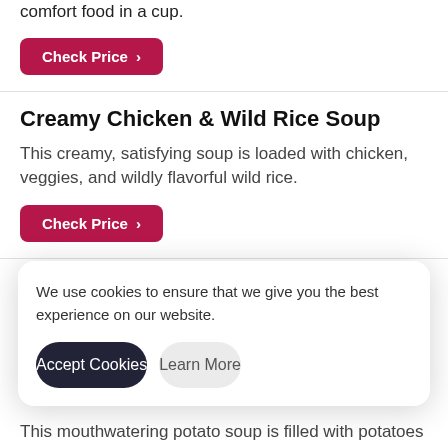comfort food in a cup.
Check Price >
Creamy Chicken & Wild Rice Soup
This creamy, satisfying soup is loaded with chicken, veggies, and wildly flavorful wild rice.
Check Price >
Homestyle Chicken Noodle Soup
A delicious soup classic, filled with tender noodles, tasty chicken, diced carrots, green cabbage and chopped
We use cookies to ensure that we give you the best experience on our website.
Accept Cookies
Learn More
This mouthwatering potato soup is filled with potatoes